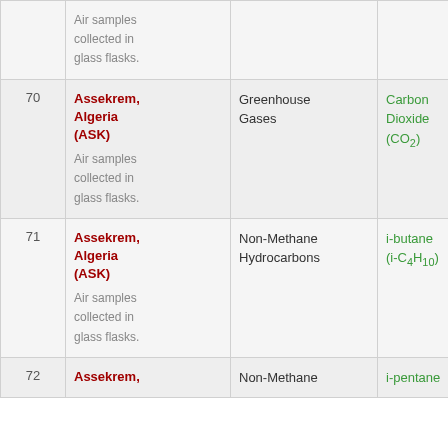| # | Site | Measurement | Species |  |
| --- | --- | --- | --- | --- |
|  | Air samples collected in glass flasks. |  |  |  |
| 70 | Assekrem, Algeria (ASK)
Air samples collected in glass flasks. | Greenhouse Gases | Carbon Dioxide (CO2) |  |
| 71 | Assekrem, Algeria (ASK)
Air samples collected in glass flasks. | Non-Methane Hydrocarbons | i-butane (i-C4H10) |  |
| 72 | Assekrem, | Non-Methane | i-pentane |  |